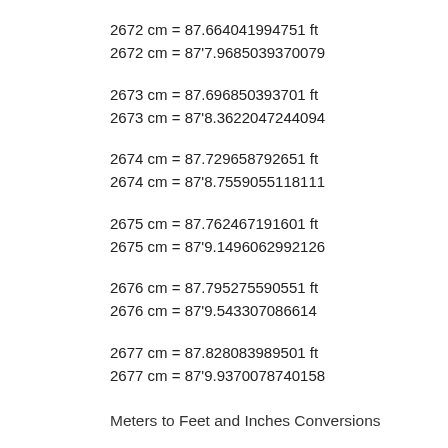2672 cm = 87.664041994751 ft
2672 cm = 87'7.9685039370079
2673 cm = 87.696850393701 ft
2673 cm = 87'8.3622047244094
2674 cm = 87.729658792651 ft
2674 cm = 87'8.7559055118111
2675 cm = 87.762467191601 ft
2675 cm = 87'9.1496062992126
2676 cm = 87.795275590551 ft
2676 cm = 87'9.543307086614
2677 cm = 87.828083989501 ft
2677 cm = 87'9.9370078740158
Meters to Feet and Inches Conversions
25.67 meters = 84.219160104987 ft
25.67 cm = 84'2.6299212598426